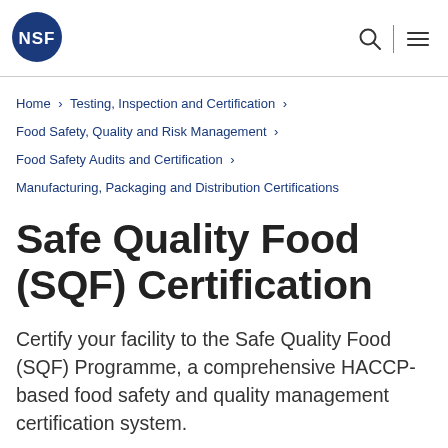[Figure (logo): NSF logo — white NSF text on a dark blue circle]
Home › Testing, Inspection and Certification › Food Safety, Quality and Risk Management › Food Safety Audits and Certification › Manufacturing, Packaging and Distribution Certifications
Safe Quality Food (SQF) Certification
Certify your facility to the Safe Quality Food (SQF) Programme, a comprehensive HACCP-based food safety and quality management certification system.